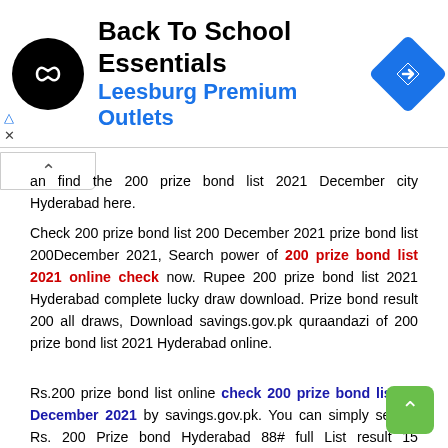[Figure (other): Advertisement banner for Back To School Essentials at Leesburg Premium Outlets, with circular black logo containing infinity-like symbol and blue diamond direction icon on the right]
an find the 200 prize bond list 2021 December city Hyderabad here.
Check 200 prize bond list 200 December 2021 prize bond list 200December 2021, Search power of 200 prize bond list 2021 online check now. Rupee 200 prize bond list 2021 Hyderabad complete lucky draw download. Prize bond result 200 all draws, Download savings.gov.pk quraandazi of 200 prize bond list 2021 Hyderabad online.
Rs.200 prize bond list online check 200 prize bond list 15 December 2021 by savings.gov.pk. You can simply search Rs. 200 Prize bond Hyderabad 88# full List result 15 December 2021 Online by saving.com.pk here.